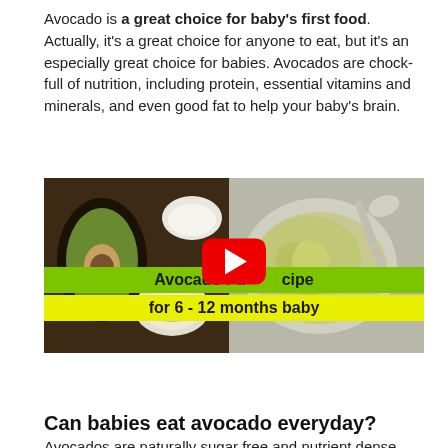Avocado is a great choice for baby's first food. Actually, it's a great choice for anyone to eat, but it's an especially great choice for babies. Avocados are chock-full of nutrition, including protein, essential vitamins and minerals, and even good fat to help your baby's brain.
[Figure (screenshot): YouTube video thumbnail for 'Avocado Puree Recipe for 6 - 12 months baby' showing a collage: left side has a halved avocado and white bowls; right side shows a bowl of mashed avocado with a spoon. A red YouTube play button overlays the center. Below is a strip of four smaller thumbnail images. Two green label bars read 'Avocado Puree Recipe' and 'for 6 - 12 months baby'.]
Can babies eat avocado everyday?
Avocados are naturally sugar free and nutrient dense, and a